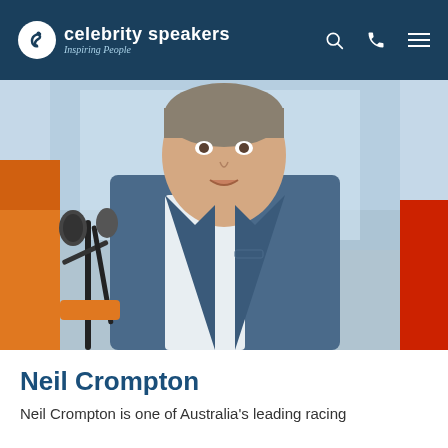celebrity speakers Inspiring People
[Figure (photo): Neil Crompton, a middle-aged man in a blue blazer and white shirt, speaking at a microphone outdoors at a motorsport event.]
Neil Crompton
Neil Crompton is one of Australia's leading racing